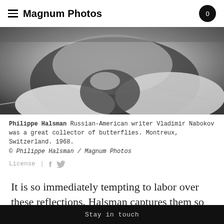Magnum Photos
[Figure (photo): Black and white close-up photograph of a man (Vladimir Nabokov), showing chin, neck and collar area. Montreux, Switzerland, 1968. Photographer: Philippe Halsman.]
Philippe Halsman Russian-American writer Vladimir Nabokov was a great collector of butterflies. Montreux, Switzerland. 1968. © Philippe Halsman / Magnum Photos
License | f 🐦
It is so immediately tempting to labor over these reflections. Halsman captures them so expertly: there, fading from the frame, is the bright blurred reflection
Stay in touch